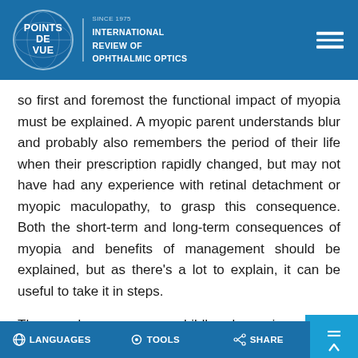POINTS DE VUE — International Review of Ophthalmic Optics
so first and foremost the functional impact of myopia must be explained. A myopic parent understands blur and probably also remembers the period of their life when their prescription rapidly changed, but may not have had any experience with retinal detachment or myopic maculopathy, to grasp this consequence. Both the short-term and long-term consequences of myopia and benefits of management should be explained, but as there's a lot to explain, it can be useful to take it in steps.
The complex message on childhood myopia ca…
LANGUAGES   TOOLS   SHARE